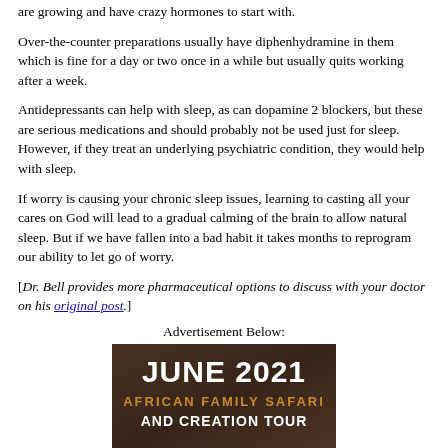are growing and have crazy hormones to start with.
Over-the-counter preparations usually have diphenhydramine in them which is fine for a day or two once in a while but usually quits working after a week.
Antidepressants can help with sleep, as can dopamine 2 blockers, but these are serious medications and should probably not be used just for sleep. However, if they treat an underlying psychiatric condition, they would help with sleep.
If worry is causing your chronic sleep issues, learning to casting all your cares on God will lead to a gradual calming of the brain to allow natural sleep. But if we have fallen into a bad habit it takes months to reprogram our ability to let go of worry.
[Dr. Bell provides more pharmaceutical options to discuss with your doctor on his original post.]
Advertisement Below:
[Figure (photo): Advertisement banner for June 2021 African Family Safari and Creation Tour, dark wood background with white and gold text]